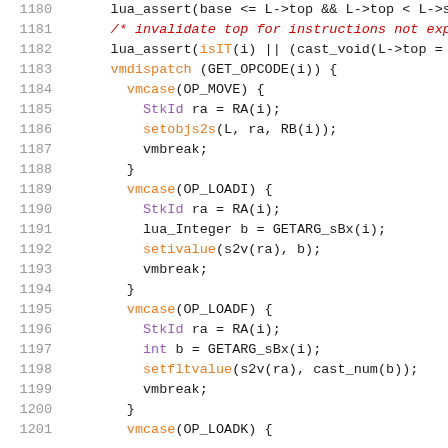[Figure (screenshot): Source code listing in C showing Lua virtual machine dispatch logic, lines 1180-1201, with syntax highlighting. Line numbers in gray on left, keywords in purple/orange/red, code in dark color.]